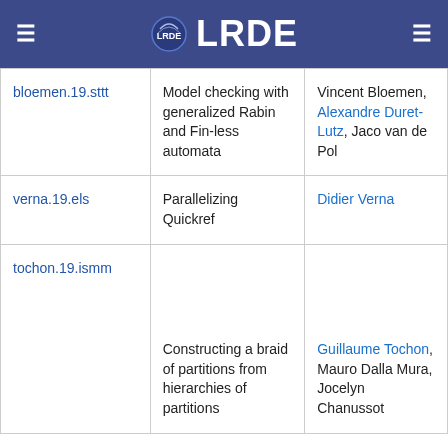LRDE
|  | Title | Authors |
| --- | --- | --- |
| bloemen.19.sttt | Model checking with generalized Rabin and Fin-less automata | Vincent Bloemen, Alexandre Duret-Lutz, Jaco van de Pol |
| verna.19.els | Parallelizing Quickref | Didier Verna |
| tochon.19.ismm | Constructing a braid of partitions from hierarchies of partitions | Guillaume Tochon, Mauro Dalla Mura, Jocelyn Chanussot |